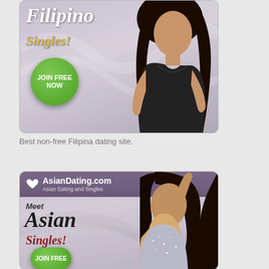[Figure (illustration): Dating website advertisement banner for Filipino Singles. Features a woman in a black dress, italic white text reading 'Filipino', golden italic text 'Singles!', and a green circular button with 'JOIN FREE NOW'.]
Best non-free Filipina dating site.
[Figure (illustration): Dating website advertisement banner for AsianDating.com. Purple header bar with heart icon and 'AsianDating.com' text and 'Asian Dating and Singles' subtitle. Script text 'Meet Asian Singles!' in dark and red colors. Green oval button with 'JOIN FREE'. Woman in sparkly dress on right side.]